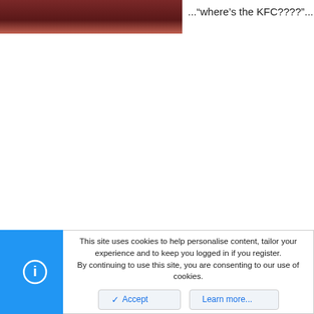[Figure (photo): Partial photo of a person wearing a dark red/maroon outfit, cropped at top of page]
..."where's the KFC????"....
This site uses cookies to help personalise content, tailor your experience and to keep you logged in if you register.
By continuing to use this site, you are consenting to our use of cookies.
Accept
Learn more...